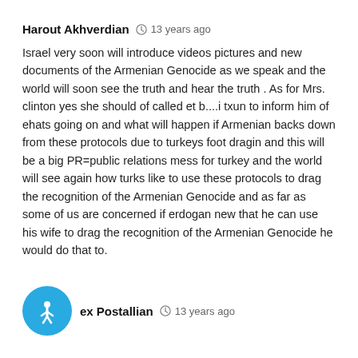Harout Akhverdian  13 years ago
Israel very soon will introduce videos pictures and new documents of the Armenian Genocide as we speak and the world will soon see the truth and hear the truth . As for Mrs. clinton yes she should of called et b....i txun to inform him of ehats going on and what will happen if Armenian backs down from these protocols due to turkeys foot dragin and this will be a big PR=public relations mess for turkey and the world will see again how turks like to use these protocols to drag the recognition of the Armenian Genocide and as far as some of us are concerned if erdogan new that he can use his wife to drag the recognition of the Armenian Genocide he would do that to.
ex Postallian  13 years ago